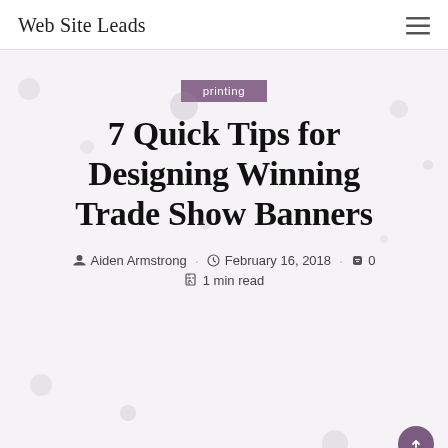Web Site Leads
printing
7 Quick Tips for Designing Winning Trade Show Banners
Aiden Armstrong · February 16, 2018 · 0 · 1 min read